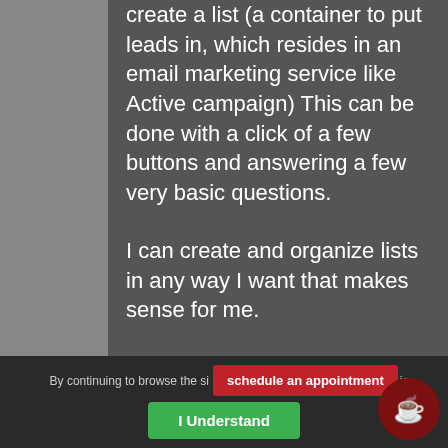create a list (a container to put leads in, which resides in an email marketing service like Active campaign) This can be done with a click of a few buttons and answering a few very basic questions.
I can create and organize lists in any way I want that makes sense for me.
So my list could be my master list, (all my clients and patients)  or a subset of my subscribers who would like to have the recipes, and may be a
By continuing to browse the si...
schedule an appointment
I Understand